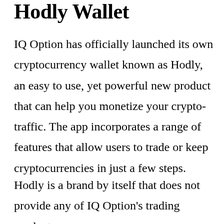Hodly Wallet
IQ Option has officially launched its own cryptocurrency wallet known as Hodly, an easy to use, yet powerful new product that can help you monetize your crypto-traffic. The app incorporates a range of features that allow users to trade or keep cryptocurrencies in just a few steps.
Hodly is a brand by itself that does not provide any of IQ Option’s trading products.